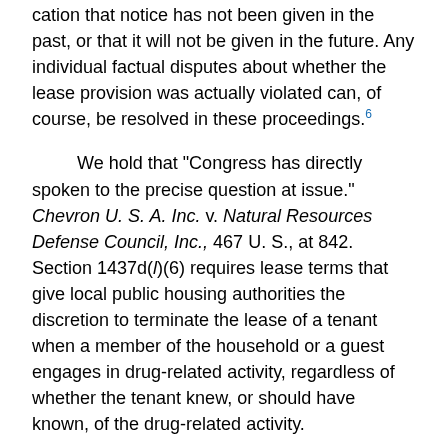cation that notice has not been given in the past, or that it will not be given in the future. Any individual factual disputes about whether the lease provision was actually violated can, of course, be resolved in these proceedings.6
We hold that "Congress has directly spoken to the precise question at issue." Chevron U. S. A. Inc. v. Natural Resources Defense Council, Inc., 467 U. S., at 842. Section 1437d(l)(6) requires lease terms that give local public housing authorities the discretion to terminate the lease of a tenant when a member of the household or a guest engages in drug-related activity, regardless of whether the tenant knew, or should have known, of the drug-related activity.
Accordingly, the judgment of the Court of Appeals is reversed, and the cases are remanded for further proceedings consistent with this opinion.